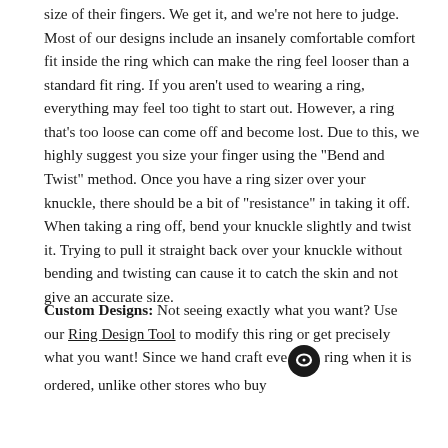size of their fingers. We get it, and we're not here to judge. Most of our designs include an insanely comfortable comfort fit inside the ring which can make the ring feel looser than a standard fit ring. If you aren't used to wearing a ring, everything may feel too tight to start out. However, a ring that's too loose can come off and become lost. Due to this, we highly suggest you size your finger using the "Bend and Twist" method. Once you have a ring sizer over your knuckle, there should be a bit of "resistance" in taking it off. When taking a ring off, bend your knuckle slightly and twist it. Trying to pull it straight back over your knuckle without bending and twisting can cause it to catch the skin and not give an accurate size.
Custom Designs: Not seeing exactly what you want? Use our Ring Design Tool to modify this ring or get precisely what you want! Since we hand craft every ring when it is ordered, unlike other stores who buy